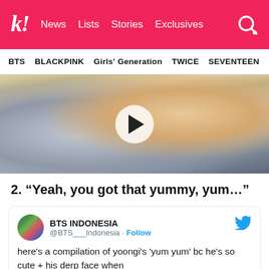k! News Lists Stories Exclusives
BTS BLACKPINK Girls' Generation TWICE SEVENTEEN
[Figure (photo): Video thumbnail showing a person with blonde hair drinking from a water bottle with mouth open, with a white circular play button overlay in the center]
2. “Yeah, you got that yummy, yum…”
BTS INDONESIA @BTS___Indonesia · Follow

here's a compilation of yoongi's 'yum yum' bc he's so cute + his derp face when